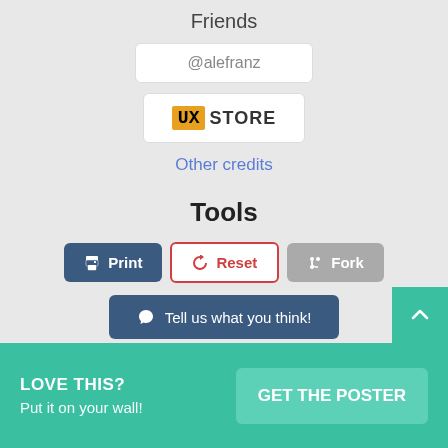Friends
@alefranz
[Figure (logo): UX Store logo: orange square with bold UX text followed by STORE in dark letters]
Other credits
Tools
Print  Reset  Fork
Tell us what you think!
LOVE THIS?
Put it on your wall!
GET THE POSTER